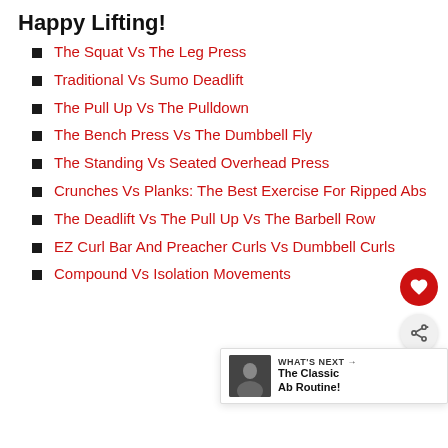Happy Lifting!
The Squat Vs The Leg Press
Traditional Vs Sumo Deadlift
The Pull Up Vs The Pulldown
The Bench Press Vs The Dumbbell Fly
The Standing Vs Seated Overhead Press
Crunches Vs Planks: The Best Exercise For Ripped Abs
The Deadlift Vs The Pull Up Vs The Barbell Row
EZ Curl Bar And Preacher Curls Vs Dumbbell Curls
Compound Vs Isolation Movements